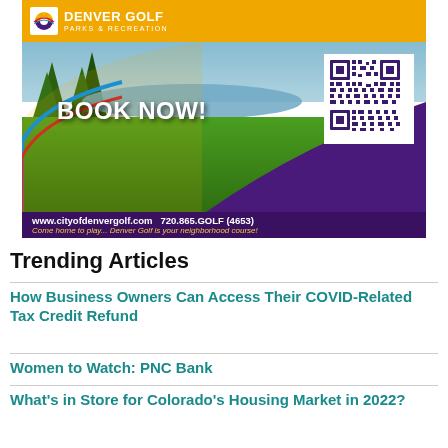[Figure (illustration): Denver Golf Parks & Recreation advertisement with golf course photo, 'BOOK NOW!' text, QR code, website www.cityofdenvergolf.com, phone 720.865.GOLF (4653), tagline 'Come home to play... Denver Golf is your neighborhood course!']
Trending Articles
How Business Owners Can Access Their COVID-Related Tax Credit Refund
Women to Watch: PNC Bank
What's in Store for Colorado's Housing Market in 2022?